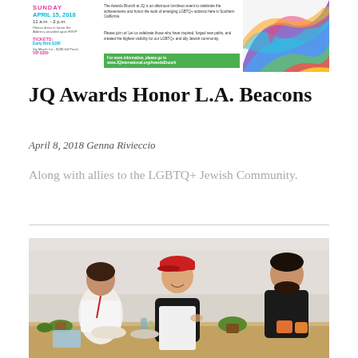[Figure (illustration): JQ Awards brunch event flyer with colorful abstract design on the right side and event details on the left including date Sunday April 15 2018, 11am-2pm, ticket prices Early Bird $180, VIP $350]
JQ Awards Honor L.A. Beacons
April 8, 2018 Genna Rivieccio
Along with allies to the LGBTQ+ Jewish Community.
[Figure (photo): Three people standing at what appears to be a food event or market booth. A woman in white on the left, a woman in a black shirt and white apron with a red cap in the center smiling, and a man in a black shirt on the right looking away. There are plants, food items, and bottles on the table in front of them.]